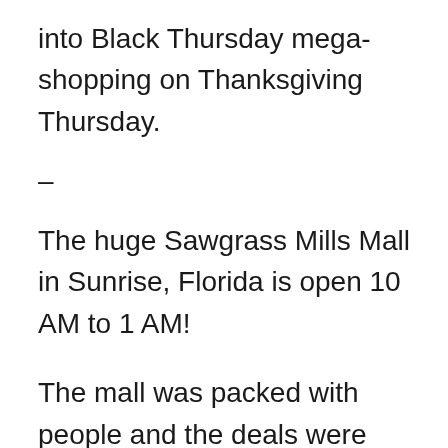into Black Thursday mega-shopping on Thanksgiving Thursday.
–
The huge Sawgrass Mills Mall in Sunrise, Florida is open 10 AM to 1 AM!
The mall was packed with people and the deals were pretty fantastic.